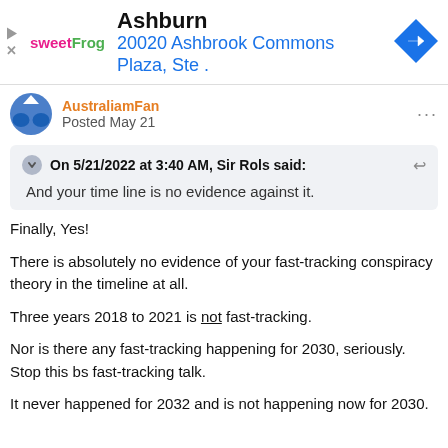[Figure (other): sweetFrog advertisement banner showing location: Ashburn, 20020 Ashbrook Commons Plaza, Ste. with navigation arrow icon]
AustraliamFan
Posted May 21
On 5/21/2022 at 3:40 AM, Sir Rols said:
And your time line is no evidence against it.
Finally, Yes!
There is absolutely no evidence of your fast-tracking conspiracy theory in the timeline at all.
Three years 2018 to 2021 is not fast-tracking.
Nor is there any fast-tracking happening for 2030, seriously. Stop this bs fast-tracking talk.
It never happened for 2032 and is not happening now for 2030.